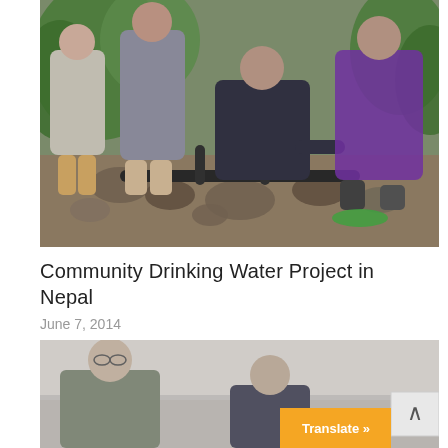[Figure (photo): People working on water pipe installation in a rocky outdoor setting with vegetation. Multiple men crouching and standing around pipes and valve fittings being assembled in the ground.]
Community Drinking Water Project in Nepal
June 7, 2014
[Figure (photo): Partial view of people indoors, showing at least two individuals. An orange Translate button and a back-to-top arrow button are overlaid on the bottom-right corner.]